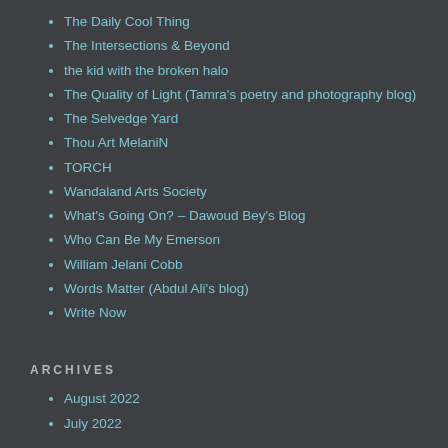The Daily Cool Thing
The Intersections & Beyond
the kid with the broken halo
The Quality of Light (Tamra's poetry and photography blog)
The Selvedge Yard
Thou Art MelaniN
TORCH
Wandaland Arts Society
What's Going On? – Dawoud Bey's Blog
Who Can Be My Emerson
William Jelani Cobb
Words Matter (Abdul Ali's blog)
Write Now
ARCHIVES
August 2022
July 2022